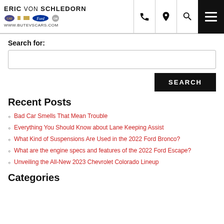ERIC VON SCHLEDORN | WWW.BUTEVSCARS.COM
Search for:
[search input box]
SEARCH
Recent Posts
Bad Car Smells That Mean Trouble
Everything You Should Know about Lane Keeping Assist
What Kind of Suspensions Are Used in the 2022 Ford Bronco?
What are the engine specs and features of the 2022 Ford Escape?
Unveiling the All-New 2023 Chevrolet Colorado Lineup
Categories